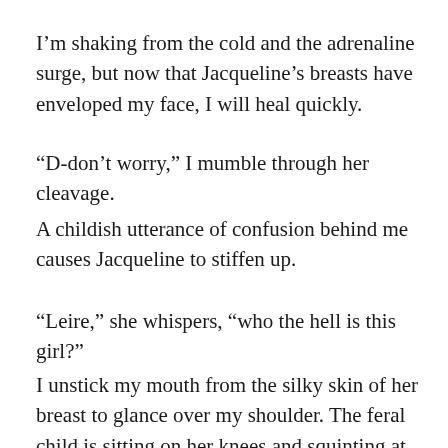I'm shaking from the cold and the adrenaline surge, but now that Jacqueline's breasts have enveloped my face, I will heal quickly.
“D-don’t worry,” I mumble through her cleavage.
A childish utterance of confusion behind me causes Jacqueline to stiffen up.
“Leire,” she whispers, “who the hell is this girl?”
I unstick my mouth from the silky skin of her breast to glance over my shoulder. The feral child is sitting on her knees and squinting at the bright light in the hallway as she checks her surroundings with bewilderment.